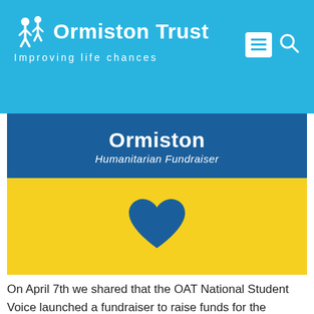[Figure (logo): Ormiston Trust logo with person icon and tagline 'Improving life chances' on a blue background]
[Figure (illustration): Ormiston Humanitarian Fundraiser banner with blue top section showing title and yellow bottom section showing a blue heart, styled as the Ukrainian flag colors]
On April 7th we shared that the OAT National Student Voice launched a fundraiser to raise funds for the Disasters Emergency Committee (DEC) Appeal for Ukraine. The initial fundraising target was £10,000 and we are happy to update that they have surpassed their fundraising goal and have currently